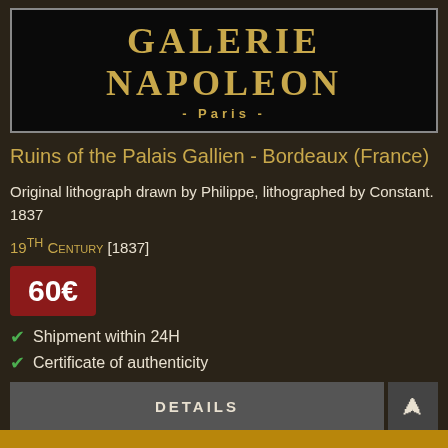[Figure (logo): Galerie Napoleon Paris logo on black background with gold text]
Ruins of the Palais Gallien - Bordeaux (France)
Original lithograph drawn by Philippe, lithographed by Constant. 1837
19TH CENTURY [1837]
60€
Shipment within 24H
Certificate of authenticity
Passepartout included
Secured packaging
DETAILS